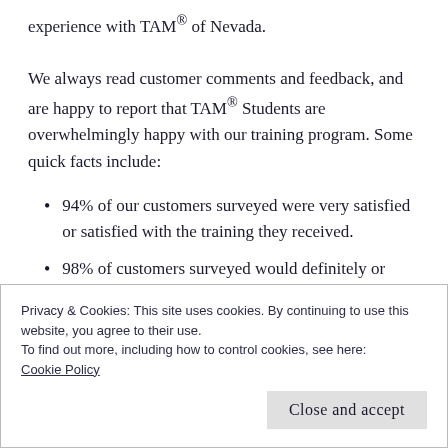experience with TAM® of Nevada.
We always read customer comments and feedback, and are happy to report that TAM® Students are overwhelmingly happy with our training program. Some quick facts include:
94% of our customers surveyed were very satisfied or satisfied with the training they received.
98% of customers surveyed would definitely or
Privacy & Cookies: This site uses cookies. By continuing to use this website, you agree to their use.
To find out more, including how to control cookies, see here:
Cookie Policy
Close and accept